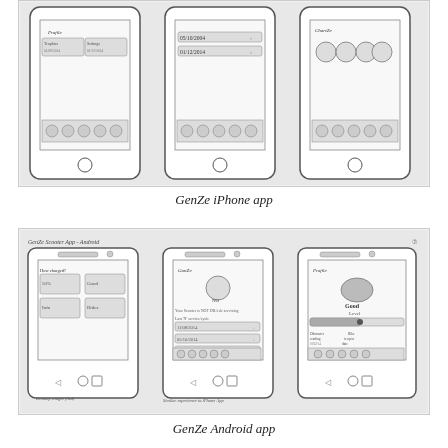[Figure (illustration): Hand-drawn wireframe sketches of three iPhone app screens showing GenZe iPhone app UI mockups with date pickers, icons, and navigation elements.]
GenZe iPhone app
[Figure (illustration): Hand-drawn wireframe sketches of three Android app screens showing GenZe Android app UI mockups including desktop widget (3x4), similar experience to iPhone app, and profile/gauge screen. Label at top reads 'GenZe Scooter App - Android'.]
GenZe Android app